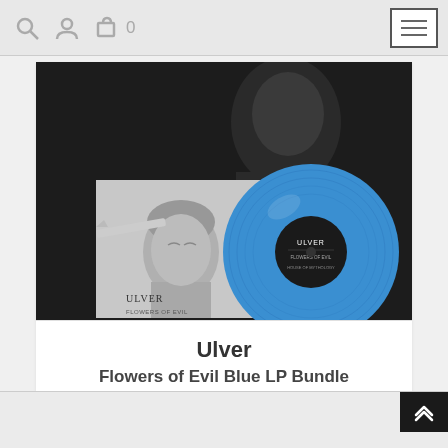Navigation bar with search, user, cart (0), and hamburger menu
[Figure (photo): Product bundle photo showing Ulver Flowers of Evil album cover (black and white image of a person with a blade near their head, with FLOWERS OF EVIL text and another figure in background), alongside a blue vinyl LP record with black center label reading ULVER]
Ulver
Flowers of Evil Blue LP Bundle
Bundle
$42.99
Back to top button